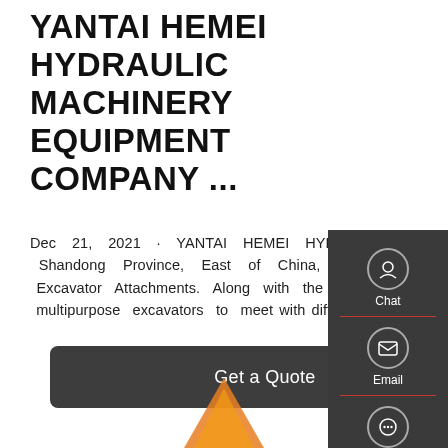YANTAI HEMEI HYDRAULIC MACHINERY EQUIPMENT COMPANY ...
Dec 21, 2021 · YANTAI HEMEI HYDRAULIC MACHINERY EQUIPMENT CO. Ltd, locate in Yantai City of Shandong Province, East of China, Founded in 2018, which is a High-Tech manufacturing company of Excavator Attachments. Along with the popularization of mechanized construction, more and more users choose multipurpose excavators to meet with different working situation.
Get a Quote
[Figure (infographic): Sidebar panel with Chat, Email, and Contact icons on dark grey background with red bottom border]
[Figure (photo): Orange excavator attachment visible at bottom of page]